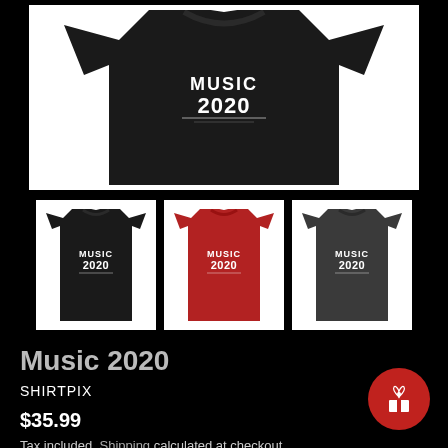[Figure (photo): Main large product image of a black t-shirt with 'MUSIC 2020' print on white background]
[Figure (photo): Three thumbnail images of the Music 2020 t-shirt in black (selected), red, and dark grey colors]
Music 2020
SHIRTPIX
$35.99
Tax included. Shipping calculated at checkout.